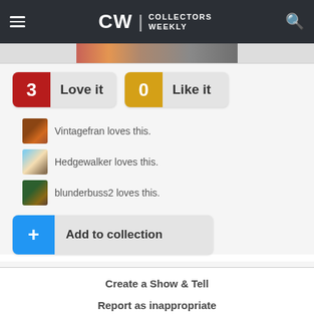CW | COLLECTORS WEEKLY
[Figure (screenshot): Partial image strip below header]
3 Love it
0 Like it
Vintagefran loves this.
Hedgewalker loves this.
blunderbuss2 loves this.
Add to collection
Create a Show & Tell
Report as inappropriate
AD  X